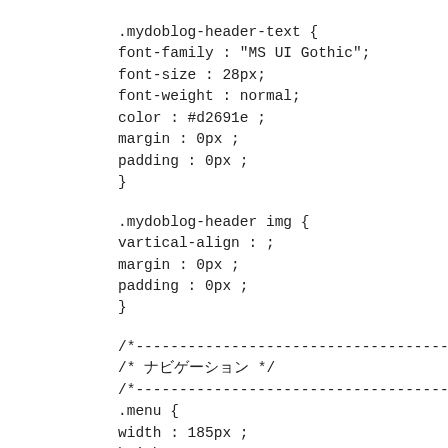.mydoblog-header-text {
font-family : "MS UI Gothic";
font-size : 28px;
font-weight : normal;
color : #d2691e ;
margin : 0px ;
padding : 0px ;
}
.mydoblog-header img {
vartical-align : ;
margin : 0px ;
padding : 0px ;
}
/*--------------------------------------------------*/
/* ナビゲーション */
/*--------------------------------------------------*/
.menu {
width : 185px ;
height : ;
top : ;
left : ;
background-color : #FFFFFF ;
position : ;